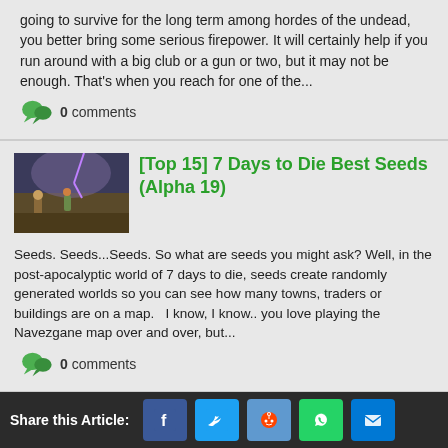going to survive for the long term among hordes of the undead, you better bring some serious firepower. It will certainly help if you run around with a big club or a gun or two, but it may not be enough. That's when you reach for one of the...
0 comments
[Figure (photo): Screenshot from 7 Days to Die showing zombie apocalypse scene with player characters and purple energy effects]
[Top 15] 7 Days to Die Best Seeds (Alpha 19)
Seeds. Seeds...Seeds. So what are seeds you might ask? Well, in the post-apocalyptic world of 7 days to die, seeds create randomly generated worlds so you can see how many towns, traders or buildings are on a map.   I know, I know.. you love playing the Navezgane map over and over, but...
0 comments
[Figure (photo): Screenshot from 7 Days to Die showing a forested area with a wooden structure/cabin and trees]
7 Days to Die Best Seeds (Top 10)
Map seeds are a great way to get
Share this Article: [Facebook] [Twitter] [Reddit] [WhatsApp] [Email]